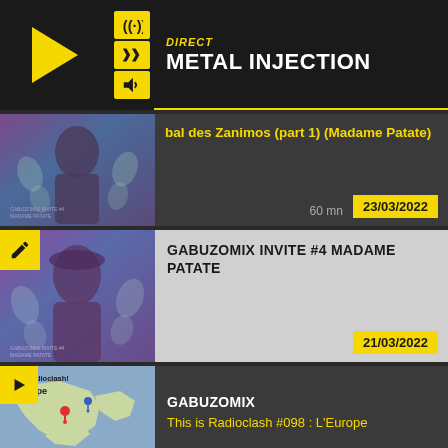[Figure (screenshot): Radio player header with play button (yellow triangle on black), signal icon, shuffle icon, volume icon, DIRECT label in yellow italic, station name METAL INJECTION in white bold, yellow horizontal line]
[Figure (screenshot): List item with thumbnail (abstract person figure, purple/teal tones), yellow title text 'bal des Zanimos (part 1) (Madame Patate)', duration '60 mn', date badge '23/03/2022']
[Figure (screenshot): List item with pencil edit badge (yellow), thumbnail (same figure), grey background info area, bold black title 'GABUZOMIX INVITE #4 MADAME PATATE', date badge '21/03/2022']
[Figure (screenshot): List item with play badge (yellow), thumbnail (map of Europe with pins), show name 'GABUZOMIX' in white, episode title 'This is Radioclash #098 : L'Europe' in yellow]